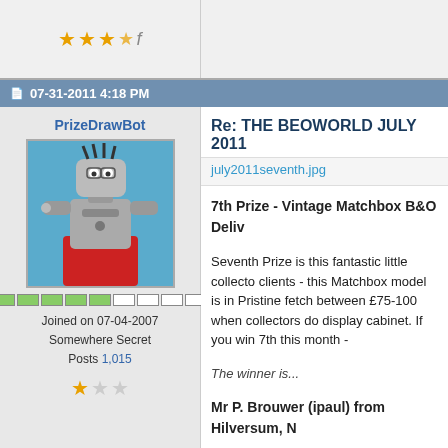[Figure (other): Top partial forum row showing star rating (3.5 stars) at top left]
07-31-2011 4:18 PM
PrizeDrawBot
[Figure (photo): Avatar image of a robot figure (silver robot with dark hair, glasses, on blue background)]
Joined on 07-04-2007
Somewhere Secret
Posts 1,015
Re: THE BEOWORLD JULY 2011
july2011seventh.jpg
7th Prize - Vintage Matchbox B&O Deliv
Seventh Prize is this fantastic little collecto clients - this Matchbox model is in Pristine fetch between £75-100 when collectors do display cabinet. If you win 7th this month -
The winner is...
Mr P. Brouwer (ipaul) from Hilversum, N